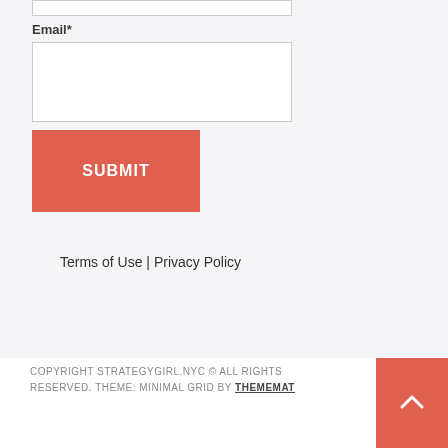Email*
SUBMIT
Terms of Use | Privacy Policy
COPYRIGHT STRATEGYGIRL.NYC © ALL RIGHTS RESERVED. THEME: MINIMAL GRID BY THEMEMAT…